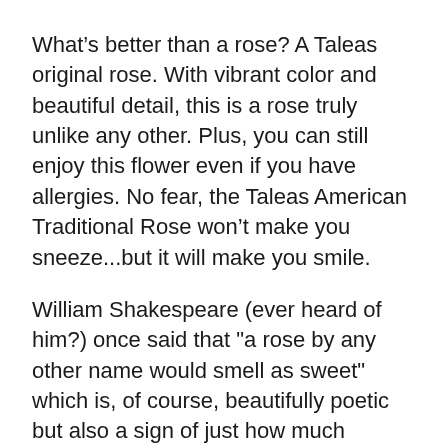What’s better than a rose? A Taleas original rose. With vibrant color and beautiful detail, this is a rose truly unlike any other. Plus, you can still enjoy this flower even if you have allergies. No fear, the Taleas American Traditional Rose won’t make you sneeze...but it will make you smile.
William Shakespeare (ever heard of him?) once said that "a rose by any other name would smell as sweet" which is, of course, beautifully poetic but also a sign of just how much people really love roses.
They do! All over the world, there are few things as powerful and sentimental as a rose.